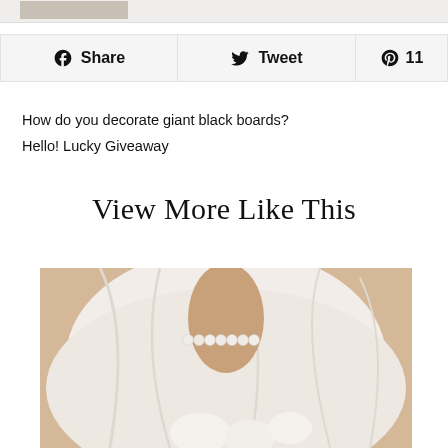[Figure (photo): Partial top strip showing a thumbnail image, cropped at top of page]
[Figure (infographic): Social sharing buttons row: Facebook Share, Twitter Tweet, Pinterest 11]
How do you decorate giant black boards?
Hello! Lucky Giveaway
View More Like This
[Figure (photo): Photo of a bride in white dress holding flowers, wearing pearl bracelet, cropped at bottom]